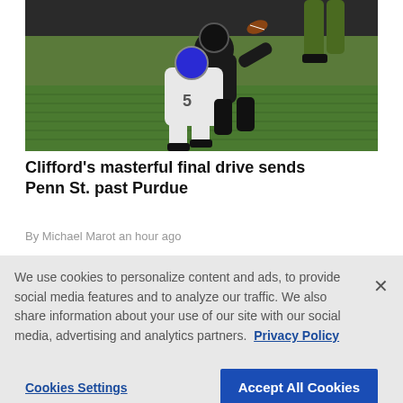[Figure (photo): Football action photo showing a player being tackled on a grass field at night, with one player in white uniform and another in dark uniform catching or holding the ball]
Clifford's masterful final drive sends Penn St. past Purdue
By Michael Marot an hour ago
We use cookies to personalize content and ads, to provide social media features and to analyze our traffic. We also share information about your use of our site with our social media, advertising and analytics partners. Privacy Policy
Cookies Settings | Accept All Cookies